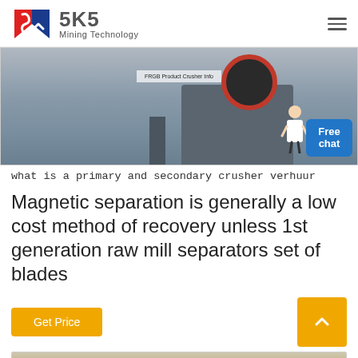SKS Mining Technology
[Figure (photo): Industrial mining machine (crusher/separator) with red circular wheel component, photographed in a facility. A customer service agent graphic with 'Free chat' button overlay in blue is visible in the bottom-right corner.]
what is a primary and secondary crusher verhuur
Magnetic separation is generally a low cost method of recovery unless 1st generation raw mill separators set of blades
Get Price
[Figure (photo): Partially visible bottom image showing what appears to be industrial equipment or machinery from below, with cables/pipes visible.]